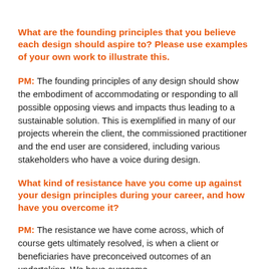What are the founding principles that you believe each design should aspire to? Please use examples of your own work to illustrate this.
PM: The founding principles of any design should show the embodiment of accommodating or responding to all possible opposing views and impacts thus leading to a sustainable solution. This is exemplified in many of our projects wherein the client, the commissioned practitioner and the end user are considered, including various stakeholders who have a voice during design.
What kind of resistance have you come up against your design principles during your career, and how have you overcome it?
PM: The resistance we have come across, which of course gets ultimately resolved, is when a client or beneficiaries have preconceived outcomes of an undertaking. We have overcome